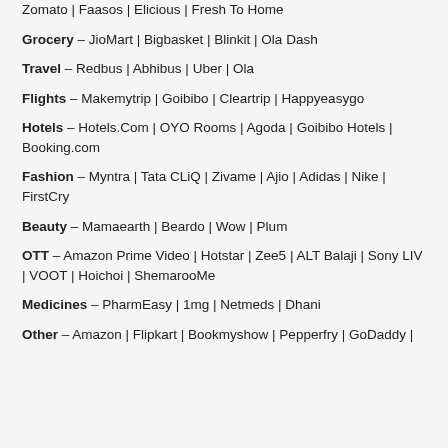Zomato | Faasos | Elicious | Fresh To Home
Grocery – JioMart | Bigbasket | Blinkit | Ola Dash
Travel – Redbus | Abhibus | Uber | Ola
Flights – Makemytrip | Goibibo | Cleartrip | Happyeasygo
Hotels – Hotels.Com | OYO Rooms | Agoda | Goibibo Hotels | Booking.com
Fashion – Myntra | Tata CLiQ | Zivame | Ajio | Adidas | Nike | FirstCry
Beauty – Mamaearth | Beardo | Wow | Plum
OTT – Amazon Prime Video | Hotstar | Zee5 | ALT Balaji | Sony LIV | VOOT | Hoichoi | ShemarooMe
Medicines – PharmEasy | 1mg | Netmeds | Dhani
Other – Amazon | Flipkart | Bookmyshow | Pepperfry | GoDaddy |